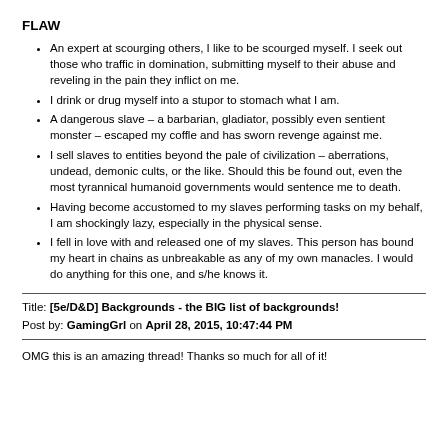FLAW
An expert at scourging others, I like to be scourged myself. I seek out those who traffic in domination, submitting myself to their abuse and reveling in the pain they inflict on me.
I drink or drug myself into a stupor to stomach what I am.
A dangerous slave – a barbarian, gladiator, possibly even sentient monster – escaped my coffle and has sworn revenge against me.
I sell slaves to entities beyond the pale of civilization – aberrations, undead, demonic cults, or the like. Should this be found out, even the most tyrannical humanoid governments would sentence me to death.
Having become accustomed to my slaves performing tasks on my behalf, I am shockingly lazy, especially in the physical sense.
I fell in love with and released one of my slaves. This person has bound my heart in chains as unbreakable as any of my own manacles. I would do anything for this one, and s/he knows it.
Title: [5e/D&D] Backgrounds - the BIG list of backgrounds! Post by: GamingGrl on April 28, 2015, 10:47:44 PM
OMG this is an amazing thread! Thanks so much for all of it!